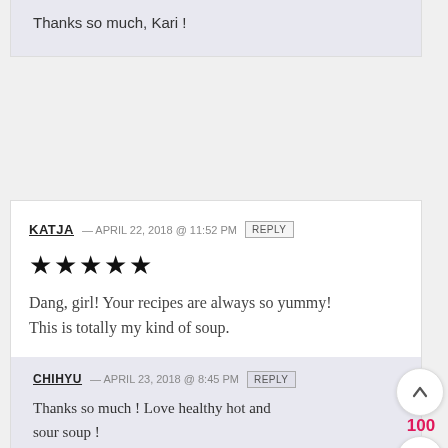Thanks so much, Kari !
KATJA — APRIL 22, 2018 @ 11:52 PM REPLY
★★★★★
Dang, girl! Your recipes are always so yummy! This is totally my kind of soup.
CHIHYU — APRIL 23, 2018 @ 8:45 PM REPLY
Thanks so much ! Love healthy hot and sour soup !